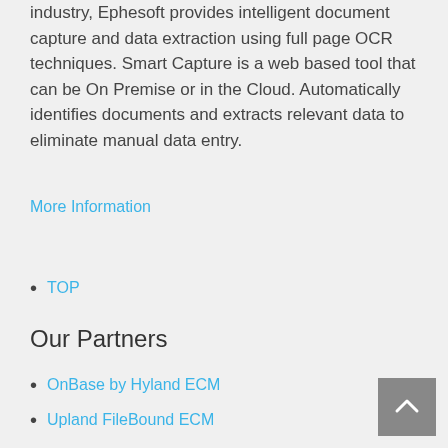industry, Ephesoft provides intelligent document capture and data extraction using full page OCR techniques. Smart Capture is a web based tool that can be On Premise or in the Cloud. Automatically identifies documents and extracts relevant data to eliminate manual data entry.
More Information
TOP
Our Partners
OnBase by Hyland ECM
Upland FileBound ECM